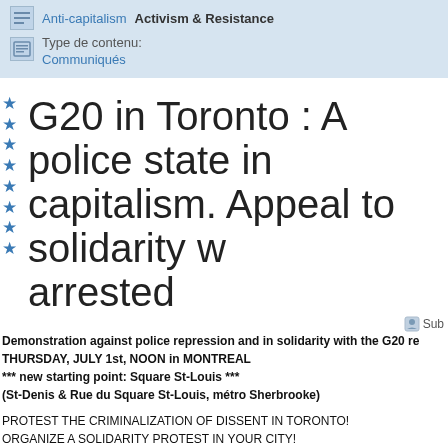Anti-capitalism  Activism & Resistance
Type de contenu:
Communiqués
G20 in Toronto : A police state in capitalism. Appeal to solidarity w arrested
Sub
Demonstration against police repression and in solidarity with the G20 re
THURSDAY, JULY 1st, NOON in MONTREAL
*** new starting point: Square St-Louis ***
(St-Denis & Rue du Square St-Louis, métro Sherbrooke)

PROTEST THE CRIMINALIZATION OF DISSENT IN TORONTO!
ORGANIZE A SOLIDARITY PROTEST IN YOUR CITY!

Ottawa (J30), Hamilton (J30), London (J30), Windsor (J30), Winnipeg (LI1), Qu